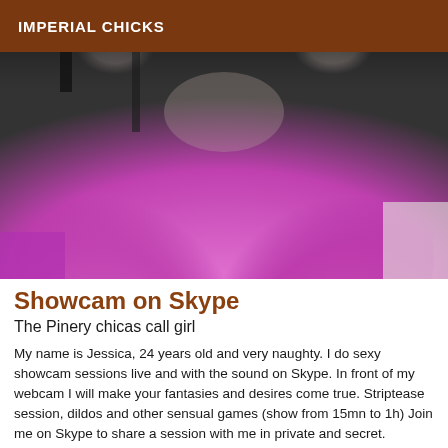IMPERIAL CHICKS
[Figure (photo): Close-up photo of a woman in a pink/magenta top]
Showcam on Skype
The Pinery chicas call girl
My name is Jessica, 24 years old and very naughty. I do sexy showcam sessions live and with the sound on Skype. In front of my webcam I will make your fantasies and desires come true. Striptease session, dildos and other sensual games (show from 15mn to 1h) Join me on Skype to share a session with me in private and secret.